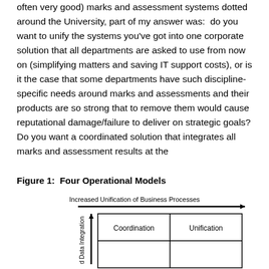often very good) marks and assessment systems dotted around the University, part of my answer was:  do you want to unify the systems you've got into one corporate solution that all departments are asked to use from now on (simplifying matters and saving IT support costs), or is it the case that some departments have such discipline-specific needs around marks and assessments and their products are so strong that to remove them would cause reputational damage/failure to deliver on strategic goals? Do you want a coordinated solution that integrates all marks and assessment results at the
Figure 1:  Four Operational Models
[Figure (other): A 2x2 matrix diagram with axes: Increased Unification of Business Processes (x-axis, rightward arrow) and Increased Data Integration (y-axis, upward arrow). The visible upper-left quadrant is labeled 'Coordination' and the upper-right quadrant is labeled 'Unification'. The lower quadrants are partially visible.]